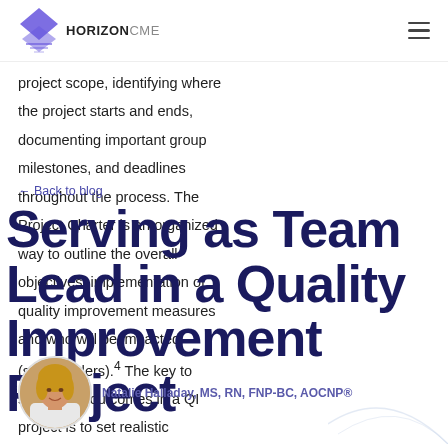HORIZONCME
project scope, identifying where the project starts and ends, documenting important group milestones, and deadlines throughout the process. The Project Charter is an organized way to outline the overall objectives, implementation of quality improvement measures and who will be impacted (stakeholders).4 The key to successful outcomes in a QI project is to set realistic
← Back to blog
Serving as Team Lead in a Quality Improvement Project
[Figure (photo): Portrait photo of author Natalie Halladay, MS, RN, FNP-BC, AOCNP®]
Natalie Halladay, MS, RN, FNP-BC, AOCNP®